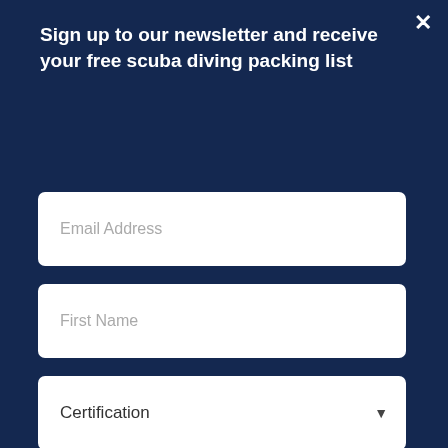Sign up to our newsletter and receive your free scuba diving packing list
Email Address
First Name
Certification
Sign up
is here: https://www.iii.org/fact-statistic/facts-statistics-mortality-risk, in this article they claim: The lifetime chances of dying from accidental drug poisoning were one in
[Figure (screenshot): CVS Pharmacy advertisement bar showing Ashburn location, OPEN 8AM-12AM, 43930 Farmwell Hunt Plaza, Ash...]